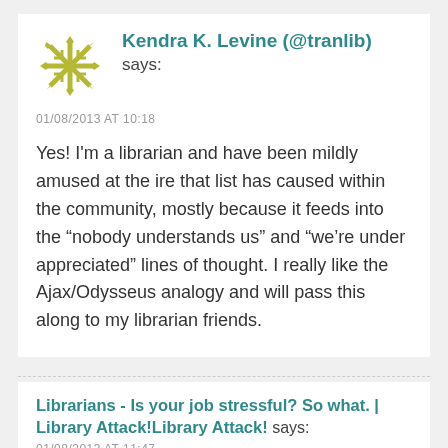[Figure (illustration): Decorative snowflake/star avatar icon in olive/yellow-green color]
Kendra K. Levine (@tranlib) says:
01/08/2013 AT 10:18
Yes! I'm a librarian and have been mildly amused at the ire that list has caused within the community, mostly because it feeds into the “nobody understands us” and “we’re under appreciated” lines of thought. I really like the Ajax/Odysseus analogy and will pass this along to my librarian friends.
Librarians - Is your job stressful? So what. | Library Attack!Library Attack! says:
01/08/2013 AT 11:47